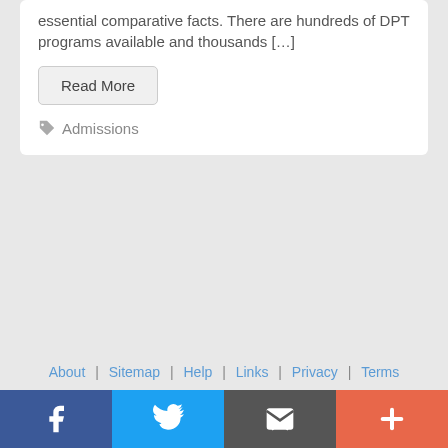essential comparative facts. There are hundreds of DPT programs available and thousands […]
Read More
Admissions
About | Sitemap | Help | Links | Privacy | Terms
[Figure (other): Social media buttons bar: Facebook (blue), Twitter (light blue), Email/envelope (dark gray), Plus/share (orange-red)]